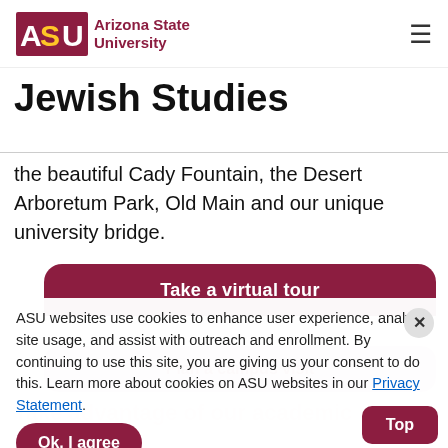ASU Arizona State University
Jewish Studies
the beautiful Cady Fountain, the Desert Arboretum Park, Old Main and our unique university bridge.
[Figure (screenshot): Maroon rounded button card labeled 'Take a virtual tour']
ASU websites use cookies to enhance user experience, analyze site usage, and assist with outreach and enrollment. By continuing to use this site, you are giving us your consent to do this. Learn more about cookies on ASU websites in our Privacy Statement.
Ok, I agree
Plan a campus visit
Take advantage of our academic resources
From academic advising and mentoring to peer coaching and subject-specific tutoring, we're here to help succeed. When you're a Jewish studies student College of Liberal Arts and Sciences, you'll have access